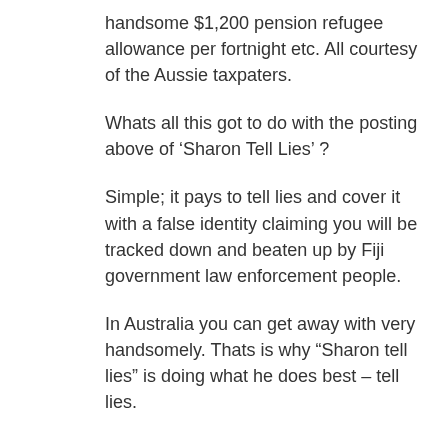handsome $1,200 pension refugee allowance per fortnight etc. All courtesy of the Aussie taxpaters.
Whats all this got to do with the posting above of ‘Sharon Tell Lies’ ?
Simple; it pays to tell lies and cover it with a false identity claiming you will be tracked down and beaten up by Fiji government law enforcement people.
In Australia you can get away with very handsomely. Thats is why “Sharon tell lies” is doing what he does best – tell lies.